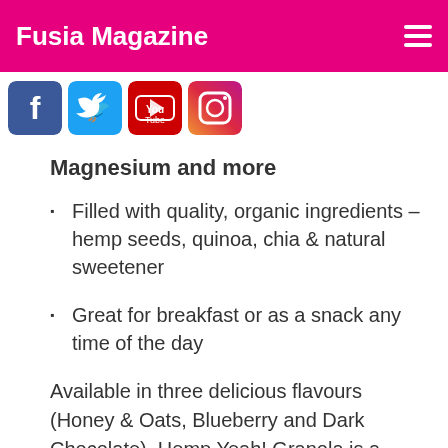Fusia Magazine
[Figure (other): Social media icons: Facebook, Twitter, YouTube, Instagram]
Magnesium and more
Filled with quality, organic ingredients – hemp seeds, quinoa, chia & natural sweetener
Great for breakfast or as a snack any time of the day
Available in three delicious flavours (Honey & Oats, Blueberry and Dark Chocolate), Hemp Yeah! Granola is a great, nutritious